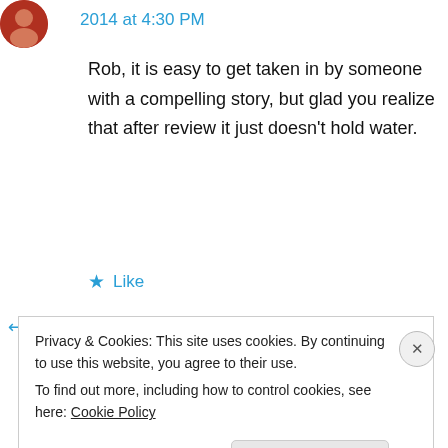[Figure (photo): Round avatar photo of a person, reddish/brown tones, top-left corner]
2014 at 4:30 PM
Rob, it is easy to get taken in by someone with a compelling story, but glad you realize that after review it just doesn't hold water.
★ Like
↳ Reply
[Figure (screenshot): Dark navy background image block with a pink/magenta horizontal bar at bottom-left and a light grey circle at bottom-right]
Privacy & Cookies: This site uses cookies. By continuing to use this website, you agree to their use.
To find out more, including how to control cookies, see here: Cookie Policy
Close and accept